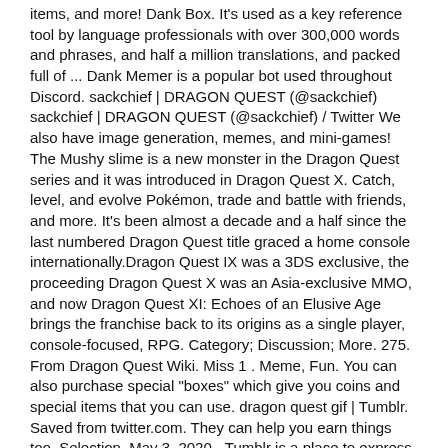items, and more! Dank Box. It's used as a key reference tool by language professionals with over 300,000 words and phrases, and half a million translations, and packed full of ... Dank Memer is a popular bot used throughout Discord. sackchief | DRAGON QUEST (@sackchief) sackchief | DRAGON QUEST (@sackchief) / Twitter We also have image generation, memes, and mini-games! The Mushy slime is a new monster in the Dragon Quest series and it was introduced in Dragon Quest X. Catch, level, and evolve Pokémon, trade and battle with friends, and more. It's been almost a decade and a half since the last numbered Dragon Quest title graced a home console internationally.Dragon Quest IX was a 3DS exclusive, the proceeding Dragon Quest X was an Asia-exclusive MMO, and now Dragon Quest XI: Echoes of an Elusive Age brings the franchise back to its origins as a single player, console-focused, RPG. Category; Discussion; More. 275. From Dragon Quest Wiki. Miss 1 . Meme, Fun. You can also purchase special "boxes" which give you coins and special items that you can use. dragon quest gif | Tumblr. Saved from twitter.com. They can help you earn things too. Selection. May 3, 2020 - Tumblr is a place to express yourself, discover yourself, and bond over the stuff you love. .. Dragon Quest Memes. Animal Drawing . 15 Useful Discord Bots To Enhance Your Server 2019 Beebom 5 Dumb Things You Can Do With Discord Bots Chatbots Life Carbon Discord Stats Carbon Discord Stats How To Add A Bot To A Discord Server 8 Steps With Pictures 1000 Pink Phallic Objects Dankmemer 5 Dumb Things You Can Do With Discord Bots Chatbots Life 5 Dumb ... Drawings. Dank Memer Global currency game with over 10m users, stealing, pets, unique items, and more! If you talk to the Hoohooligan who opened the quest, he'll offer a tip as to